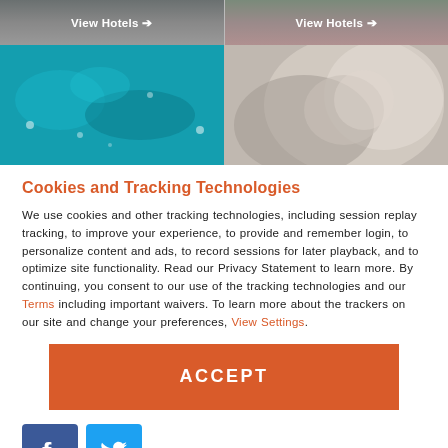[Figure (photo): Top banner with two hotel images, each with 'View Hotels →' text overlay]
[Figure (photo): Two destination photos side by side: teal aerial water view on left, dog/child photo on right]
Cookies and Tracking Technologies
We use cookies and other tracking technologies, including session replay tracking, to improve your experience, to provide and remember login, to personalize content and ads, to record sessions for later playback, and to optimize site functionality. Read our Privacy Statement to learn more. By continuing, you consent to our use of the tracking technologies and our Terms including important waivers. To learn more about the trackers on our site and change your preferences, View Settings.
[Figure (other): ACCEPT button - orange/red rectangle]
[Figure (logo): Facebook and Twitter social media icon buttons]